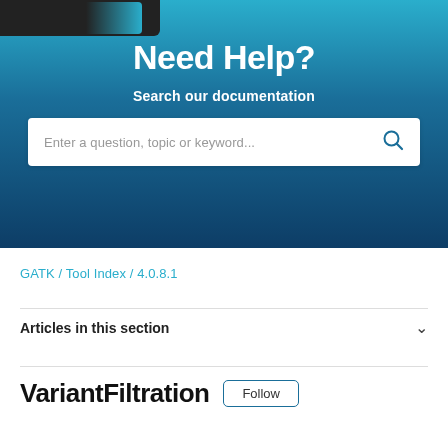[Figure (screenshot): Blue gradient hero banner with 'Need Help?' heading, 'Search our documentation' subheading, and a search input bar with placeholder text and magnifying glass icon]
GATK / Tool Index / 4.0.8.1
Articles in this section
VariantFiltration
Follow